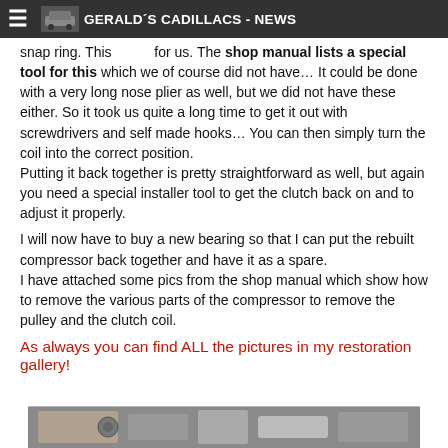GERALD´S CADILLACS - NEWS
snap ring. This [image] for us. The shop manual lists a special tool for this which we of course did not have… It could be done with a very long nose plier as well, but we did not have these either. So it took us quite a long time to get it out with screwdrivers and self made hooks… You can then simply turn the coil into the correct position.
Putting it back together is pretty straightforward as well, but again you need a special installer tool to get the clutch back on and to adjust it properly.
I will now have to buy a new bearing so that I can put the rebuilt compressor back together and have it as a spare.
I have attached some pics from the shop manual which show how to remove the various parts of the compressor to remove the pulley and the clutch coil.
As always you can find ALL the pictures in my restoration gallery!
[Figure (photo): A photo showing mechanical parts, partially visible at the bottom of the page]